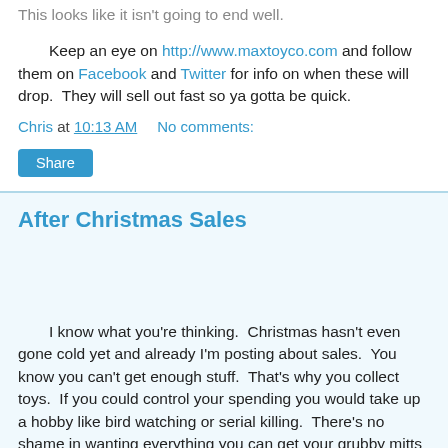This looks like it isn't going to end well.
Keep an eye on http://www.maxtoyco.com and follow them on Facebook and Twitter for info on when these will drop.  They will sell out fast so ya gotta be quick.
Chris at 10:13 AM    No comments:
Share
After Christmas Sales
I know what you're thinking.  Christmas hasn't even gone cold yet and already I'm posting about sales.  You know you can't get enough stuff.  That's why you collect toys.  If you could control your spending you would take up a hobby like bird watching or serial killing.  There's no shame in wanting everything you can get your grubby mitts on, so you might